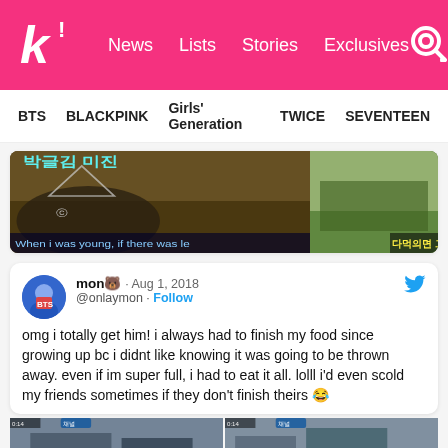k! News Lists Stories Exclusives
BTS BLACKPINK Girls' Generation TWICE SEVENTEEN
[Figure (screenshot): Video thumbnail showing Korean TV show with subtitle 'When i was young, if there was le' and Korean text overlay, split into two panels]
mon🐻 · Aug 1, 2018
@onlaymon · Follow
omg i totally get him! i always had to finish my food since growing up bc i didnt like knowing it was going to be thrown away. even if im super full, i had to eat it all. lolll i'd even scold my friends sometimes if they don't finish theirs 😂
[Figure (screenshot): Two panel screenshot from Korean TV show, showing people at a restaurant/cafe setting]